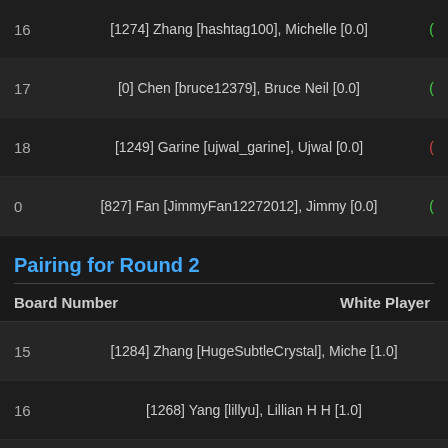| Board Number | White Player |
| --- | --- |
| 16 | [1274] Zhang [hashtag100], Michelle [0.0] |
| 17 | [0] Chen [bruce12379], Bruce Neil [0.0] |
| 18 | [1249] Garine [ujwal_garine], Ujwal [0.0] |
| 0 | [827] Fan [JimmyFan12272012], Jimmy [0.0] |
Pairing for Round 2
| Board Number | White Player |
| --- | --- |
| 15 | [1284] Zhang [HugeSubtleCrystal], Miche [1.0] |
| 16 | [1268] Yang [lillyu], Lillian H H [1.0] |
| 17 | [978] Zhang [awesomemushroom], Michael [0.0] |
| 18 | [0] Chen [bruce12379], Bruce Neil [0.0] |
| 0 | [1274] Zhang [hashtag100], Michelle [1.0] |